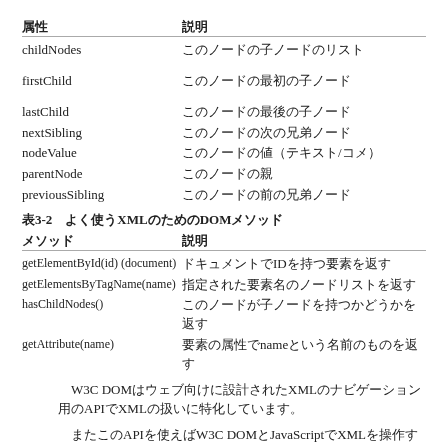| 属性 | 説明 |
| --- | --- |
| childNodes | このノードの子ノードのリスト |
| firstChild | このノードの最初の子ノード |
| lastChild | このノードの最後の子ノード |
| nextSibling | このノードの次の兄弟ノード |
| nodeValue | このノードの値（テキスト/コメント） |
| parentNode | このノードの親 |
| previousSibling | このノードの前の兄弟ノード |
表3-2　よく使うXMLのためのDOMメソッド
| メソッド | 説明 |
| --- | --- |
| getElementById(id) (document) | ドキュメントでIDを持つ要素を返す |
| getElementsByTagName(name) | 指定された要素名のノードリストを返す |
| hasChildNodes() | このノードが子ノードを持つかどうかを返す |
| getAttribute(name) | 要素の属性でnameという名前のものを返す |
W3C DOMはウェブ向けに設計されたXMLのナビゲーション用のAPIでXMLの扱いに特化しています。
またこのAPIを使えばW3C DOMとJavaScriptでXMLを操作することができます。